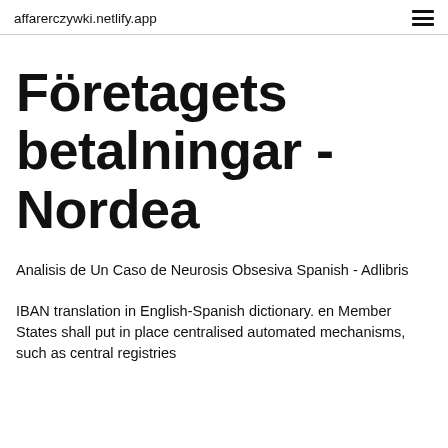affarerczywki.netlify.app
Företagets betalningar - Nordea
Analisis de Un Caso de Neurosis Obsesiva Spanish - Adlibris
IBAN translation in English-Spanish dictionary. en Member States shall put in place centralised automated mechanisms, such as central registries